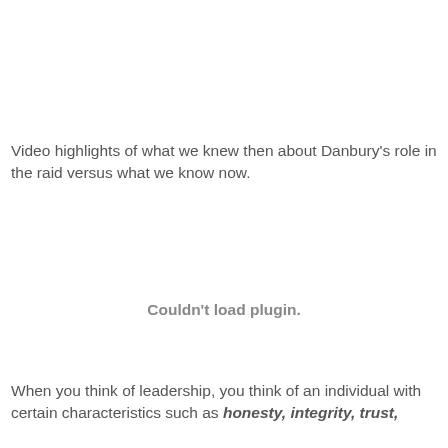Video highlights of what we knew then about Danbury's role in the raid versus what we know now.
[Figure (other): Embedded video plugin placeholder showing 'Couldn't load plugin.']
When you think of leadership, you think of an individual with certain characteristics such as honesty, integrity, trust,